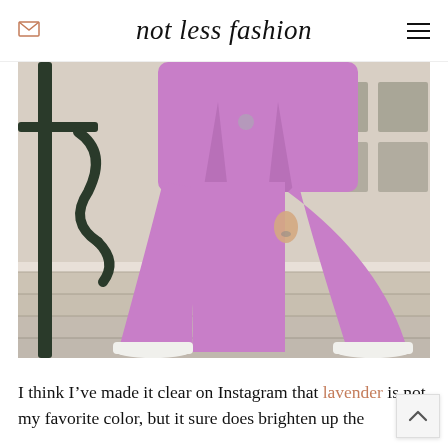not less fashion
[Figure (photo): Person wearing a lavender/purple wide-leg suit walking down stone steps outdoors. Only the lower body and torso visible. White pointed-toe heels. Dark metal railing on the left. Building with large windows in background.]
I think I’ve made it clear on Instagram that lavender not my favorite color, but it sure does brighten up the